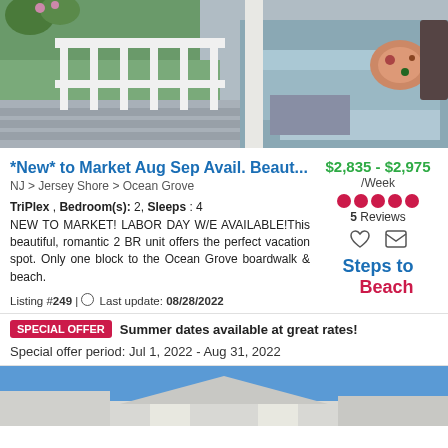[Figure (photo): Porch/deck photo with white railing, green lawn visible, and outdoor sofa seating with cushions and a floral pillow]
*New* to Market Aug Sep Avail. Beaut...
NJ > Jersey Shore > Ocean Grove
TriPlex , Bedroom(s): 2, Sleeps : 4
NEW TO MARKET! LABOR DAY W/E AVAILABLE!This beautiful, romantic 2 BR unit offers the perfect vacation spot. Only one block to the Ocean Grove boardwalk & beach.
Listing #249 | Last update: 08/28/2022
$2,835 - $2,975 /Week
5 Reviews
Steps to Beach
SPECIAL OFFER Summer dates available at great rates!
Special offer period: Jul 1, 2022 - Aug 31, 2022
[Figure (photo): Bottom portion of a house exterior with blue sky background]